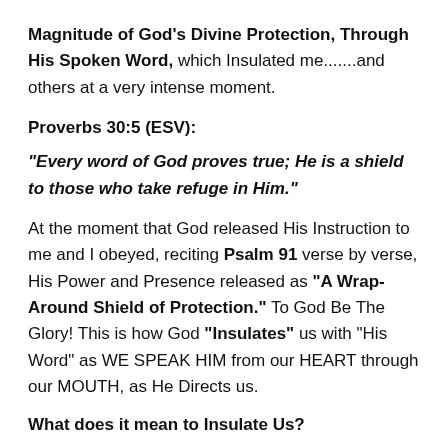Magnitude of God's Divine Protection, Through His Spoken Word, which Insulated me.......and others at a very intense moment.
Proverbs 30:5 (ESV):
“Every word of God proves true; He is a shield to those who take refuge in Him.”
At the moment that God released His Instruction to me and I obeyed, reciting Psalm 91 verse by verse, His Power and Presence released as “A Wrap-Around Shield of Protection.” To God Be The Glory! This is how God “Insulates” us with “His Word” as WE SPEAK HIM from our HEART through our MOUTH, as He Directs us.
What does it mean to Insulate Us?